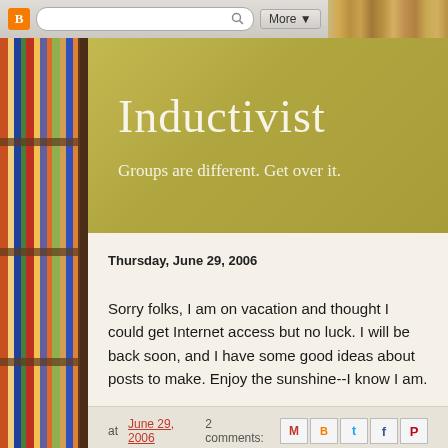[Figure (screenshot): Browser top bar with Blogger icon, search bar, More button, and bookshelf strip on right]
[Figure (photo): Left sidebar with bookshelf photo showing colorful book spines]
Inductivist
Groups are different. Get over it.
Thursday, June 29, 2006
Sorry folks, I am on vacation and thought I could get Internet access but no luck. I will be back soon, and I have some good ideas about posts to make. Enjoy the sunshine--I know I am.
at June 29, 2006   2 comments: